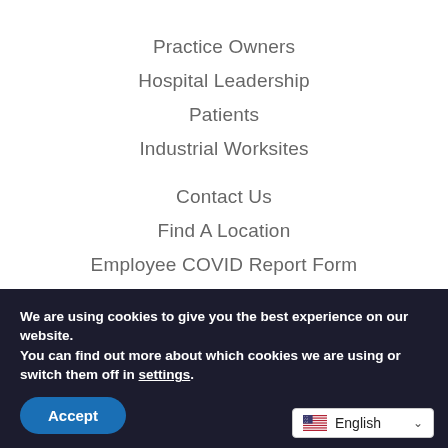Practice Owners
Hospital Leadership
Patients
Industrial Worksites
Contact Us
Find A Location
Employee COVID Report Form
Terms of Service
We are using cookies to give you the best experience on our website.
You can find out more about which cookies we are using or switch them off in settings.
Accept
English